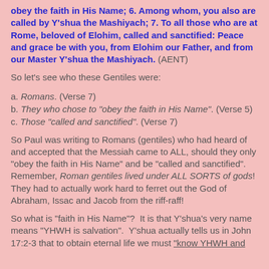obey the faith in His Name; 6. Among whom, you also are called by Y'shua the Mashiyach; 7. To all those who are at Rome, beloved of Elohim, called and sanctified: Peace and grace be with you, from Elohim our Father, and from our Master Y'shua the Mashiyach. (AENT)
So let's see who these Gentiles were:
a. Romans. (Verse 7)
b. They who chose to "obey the faith in His Name". (Verse 5)
c. Those "called and sanctified". (Verse 7)
So Paul was writing to Romans (gentiles) who had heard of and accepted that the Messiah came to ALL, should they only "obey the faith in His Name" and be "called and sanctified".  Remember, Roman gentiles lived under ALL SORTS of gods!  They had to actually work hard to ferret out the God of Abraham, Issac and Jacob from the riff-raff!
So what is "faith in His Name"?  It is that Y'shua's very name means "YHWH is salvation".  Y'shua actually tells us in John 17:2-3 that to obtain eternal life we must "know YHWH and